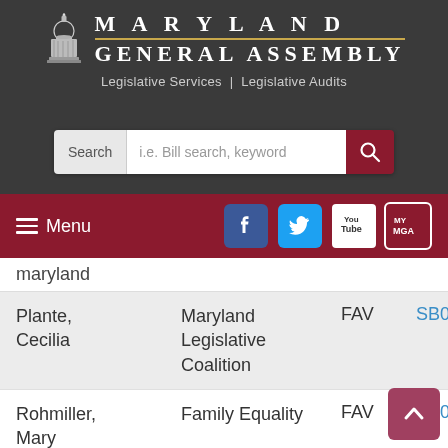[Figure (screenshot): Maryland General Assembly website header with capitol logo, title, search bar, menu bar with social media icons]
maryland
| Name | Organization | Position | Bill |
| --- | --- | --- | --- |
| Plante, Cecilia | Maryland Legislative Coalition | FAV | SB0... |
| Rohmiller, Mary | Family Equality | FAV | SB0... |
| Scheer, Rob | Comfort Cases | FAV | Ora... |